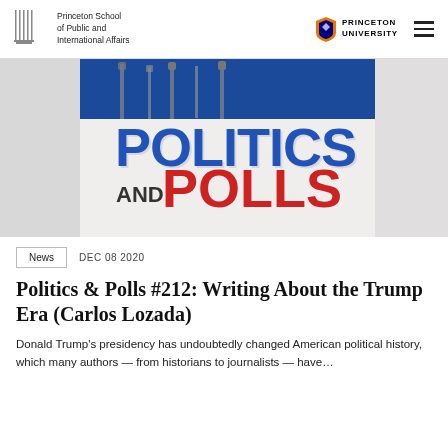Princeton School of Public and International Affairs | Princeton University
[Figure (photo): Politics and Polls podcast cover image showing microphones in background with large bold text: 'POLITICS' in blue and 'AND POLLS' with POLLS in red]
News   DEC 08 2020
Politics & Polls #212: Writing About the Trump Era (Carlos Lozada)
Donald Trump's presidency has undoubtedly changed American political history, which many authors — from historians to journalists — have...